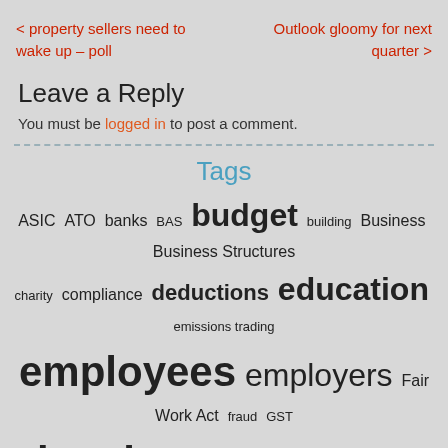< property sellers need to wake up – poll
Outlook gloomy for next quarter >
Leave a Reply
You must be logged in to post a comment.
Tags
ASIC ATO banks BAS budget building Business Business Structures charity compliance deductions education emissions trading employees employers Fair Work Act fraud GST insolvency insurance Investment liquidation loans negative gearing not-for-profit Penalties pensions phoenix real estate